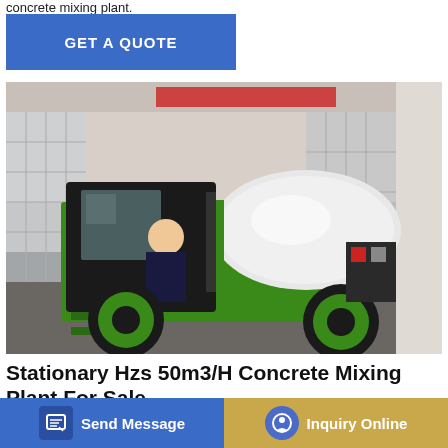concrete mixing plant.
[Figure (other): Button: GET A QUOTE on blue background]
[Figure (photo): A green and black self-loading concrete mixer truck parked indoors in a showroom, with a person (man in dark suit) seated in the cab, large white drum visible, green wheels and frame.]
Stationary Hzs 50m3/H Concrete Mixing Plant For Sale
hzs 50 stationary concrete batching plant 50m3 h ready mixed ... 3/h hz... ... ready ... twin concrete batching
[Figure (other): Bottom bar with Send Message button (blue) and Inquiry Online button (gold/tan)]